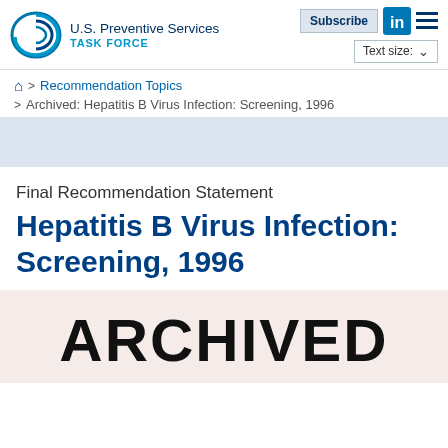U.S. Preventive Services Task Force
Recommendation Topics
Archived: Hepatitis B Virus Infection: Screening, 1996
Final Recommendation Statement
Hepatitis B Virus Infection: Screening, 1996
ARCHIVED